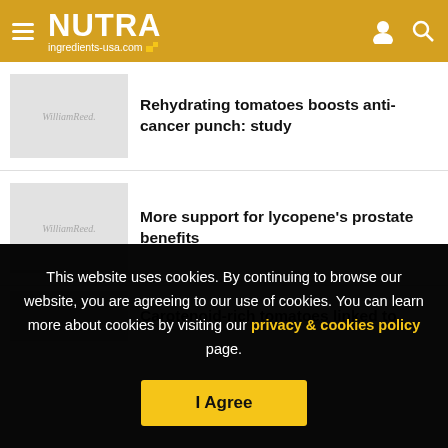NUTRA ingredients-usa.com
Rehydrating tomatoes boosts anti-cancer punch: study
More support for lycopene's prostate benefits
Carotenoid-rich tomatoes linked to
This website uses cookies. By continuing to browse our website, you are agreeing to our use of cookies. You can learn more about cookies by visiting our privacy & cookies policy page.